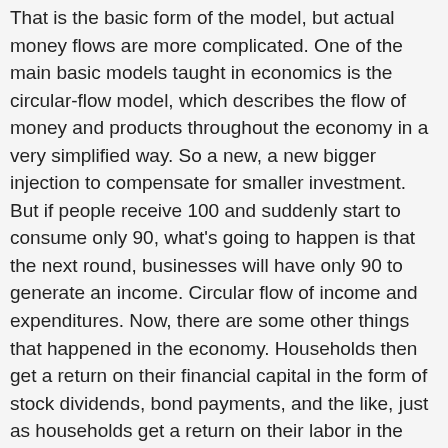That is the basic form of the model, but actual money flows are more complicated. One of the main basic models taught in economics is the circular-flow model, which describes the flow of money and products throughout the economy in a very simplified way. So a new, a new bigger injection to compensate for smaller investment. But if people receive 100 and suddenly start to consume only 90, what's going to happen is that the next round, businesses will have only 90 to generate an income. Circular flow of income and expenditures. Now, there are some other things that happened in the economy. Households then get a return on their financial capital in the form of stock dividends, bond payments, and the like, just as households get a return on their labor in the form of wages. In other words, the idea is that the top arrows are spending, and whatever is spent will determine those bottom arrows, which are income. In factor markets, households and firms play different roles than they do in the markets for goods and services. We can compute it in two ways. The arrow emanating from the firms indicates